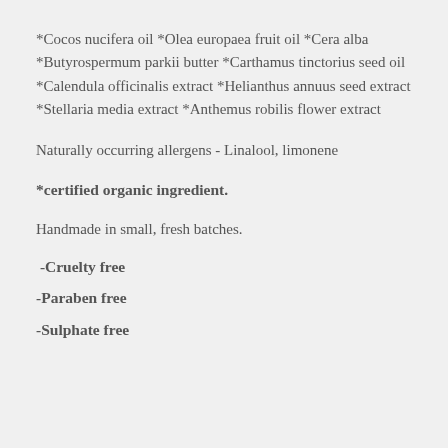*Cocos nucifera oil *Olea europaea fruit oil *Cera alba *Butyrospermum parkii butter *Carthamus tinctorius seed oil *Calendula officinalis extract *Helianthus annuus seed extract *Stellaria media extract *Anthemus robilis flower extract
Naturally occurring allergens - Linalool, limonene
*certified organic ingredient.
Handmade in small, fresh batches.
-Cruelty free
-Paraben free
-Sulphate free